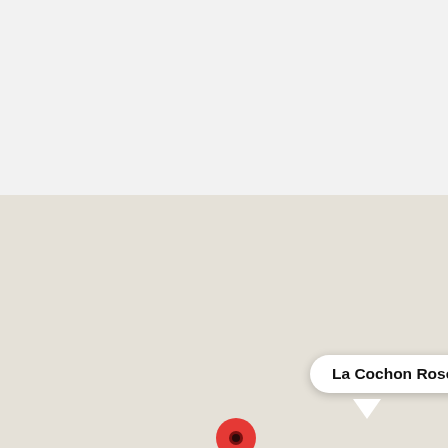[Figure (screenshot): A mobile map screenshot showing a Google Maps-style interface. A red location pin is centered in a plain beige/gray map. A white popup label reads 'La Cochon Rose Motel' with a small X close button. Two dark circular UI buttons appear in the bottom-right: an up-arrow (expand) button and a chat/message button.]